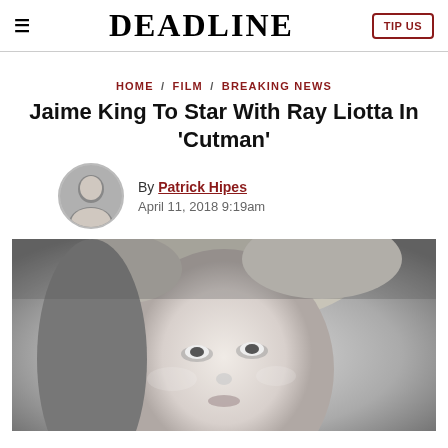DEADLINE | TIP US
HOME / FILM / BREAKING NEWS
Jaime King To Star With Ray Liotta In 'Cutman'
By Patrick Hipes
April 11, 2018 9:19am
[Figure (photo): Black and white close-up portrait photo of a blonde woman (Jaime King) looking upward]